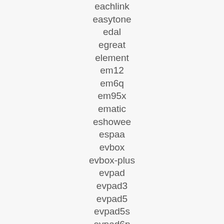eachlink
easytone
edal
egreat
element
em12
em6q
em95x
ematic
eshowee
espaa
evbox
evbox-plus
evpad
evpad3
evpad5
evpad5s
evpad6p
extreme
ezmediaxperience